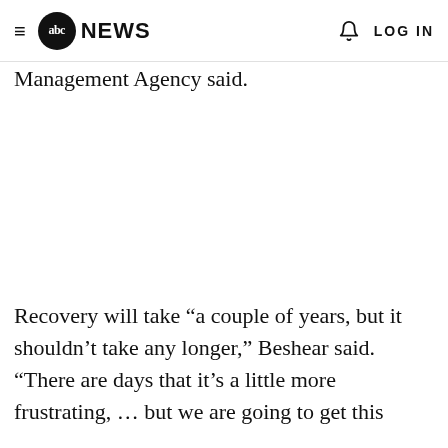abc NEWS  LOG IN
Management Agency said.
Recovery will take “a couple of years, but it shouldn’t take any longer,” Beshear said. “There are days that it’s a little more frustrating, … but we are going to get this